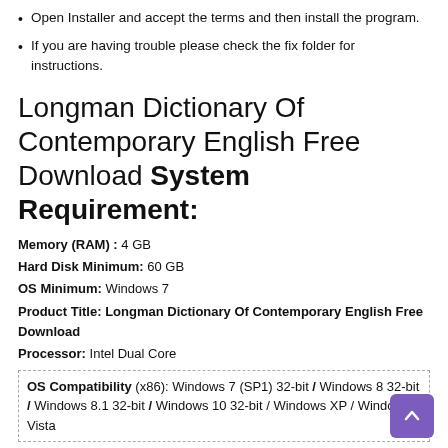Open Installer and accept the terms and then install the program.
If you are having trouble please check the fix folder for instructions.
Longman Dictionary Of Contemporary English Free Download System Requirement:
Memory (RAM) : 4 GB
Hard Disk Minimum: 60 GB
OS Minimum: Windows 7
Product Title: Longman Dictionary Of Contemporary English Free Download
Processor: Intel Dual Core
OS Compatibility (x86): Windows 7 (SP1) 32-bit / Windows 8 32-bit / Windows 8.1 32-bit / Windows 10 32-bit / Windows XP / Windows Vista